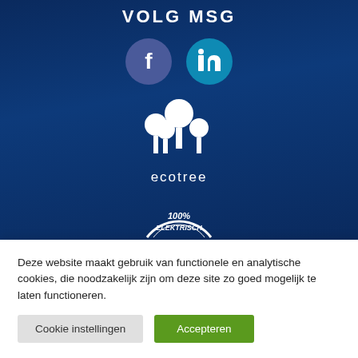VOLG MSG
[Figure (logo): Facebook circle icon and LinkedIn circle icon side by side]
[Figure (logo): Ecotree logo: white tree/lollipop shapes with text 'ecotree' below]
[Figure (logo): Badge/seal showing '100% ELEKTRISCH' text inside a circular border]
Deze website maakt gebruik van functionele en analytische cookies, die noodzakelijk zijn om deze site zo goed mogelijk te laten functioneren.
Cookie instellingen
Accepteren